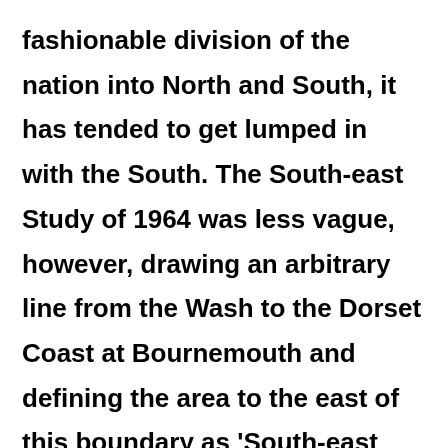fashionable division of the nation into North and South, it has tended to get lumped in with the South. The South-east Study of 1964 was less vague, however, drawing an arbitrary line from the Wash to the Dorset Coast at Bournemouth and defining the area to the east of this boundary as 'South-east England'. In the same year, Geoffrey Moorhouse (pictured